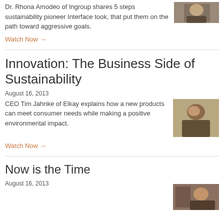Dr. Rhona Amodeo of Ingroup shares 5 steps sustainability pioneer Interface took, that put them on the path toward aggressive goals.
Watch Now →
[Figure (photo): Thumbnail photo of Dr. Rhona Amodeo]
Innovation: The Business Side of Sustainability
August 16, 2013
CEO Tim Jahnke of Elkay explains how a new products can meet consumer needs while making a positive environmental impact.
[Figure (photo): Thumbnail photo of CEO Tim Jahnke]
Watch Now →
Now is the Time
August 16, 2013
[Figure (photo): Thumbnail photo for Now is the Time article]